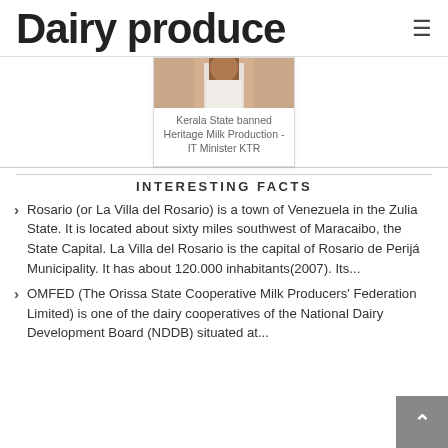Dairy produce
[Figure (photo): Partial photo of a person in white shirt, used as a card thumbnail image]
Kerala State banned Heritage Milk Production - IT Minister KTR
INTERESTING FACTS
Rosario (or La Villa del Rosario) is a town of Venezuela in the Zulia State. It is located about sixty miles southwest of Maracaibo, the State Capital. La Villa del Rosario is the capital of Rosario de Perijá Municipality. It has about 120.000 inhabitants(2007). Its...
OMFED (The Orissa State Cooperative Milk Producers' Federation Limited) is one of the dairy cooperatives of the National Dairy Development Board (NDDB) situated at...